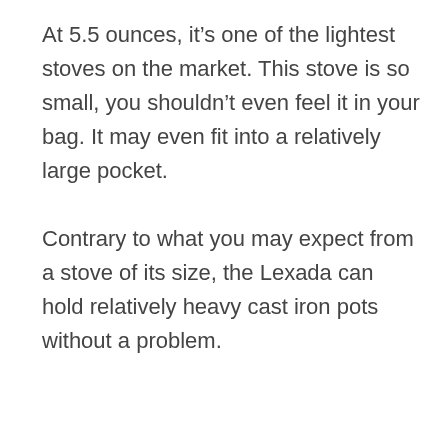At 5.5 ounces, it’s one of the lightest stoves on the market. This stove is so small, you shouldn’t even feel it in your bag. It may even fit into a relatively large pocket.
Contrary to what you may expect from a stove of its size, the Lexada can hold relatively heavy cast iron pots without a problem.